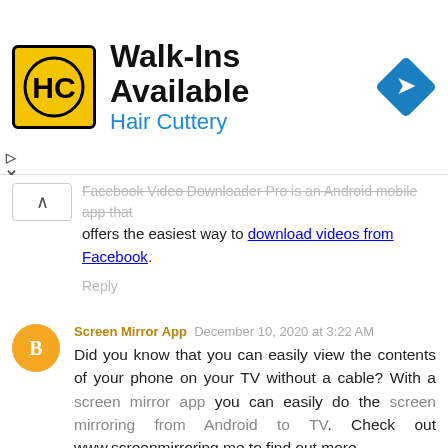[Figure (screenshot): Hair Cuttery advertisement banner. Logo with HC letters in yellow/black circle, text 'Walk-Ins Available' and 'Hair Cuttery' in blue, with a blue diamond arrow sign on the right.]
...is an Android mobile app that offers the easiest way to download videos from Facebook.
Reply
Screen Mirror App  December 10, 2020 at 3:22 AM
Did you know that you can easily view the contents of your phone on your TV without a cable? With a screen mirror app you can easily do the screen mirroring from Android to TV. Check out www.screenmirroring.me to find out more.
Reply
umair  December 10, 2020 at 6:15 AM
Bagi kalian yang ingin merasakan bagaimana bermain permainan yang menyenangkan seperti Dominoqq ini maka anda tidak perlu